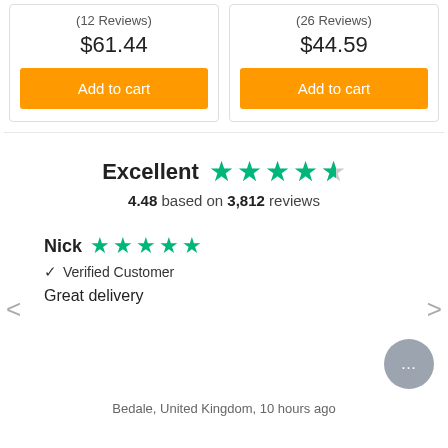(12 Reviews)
$61.44
Add to cart
(26 Reviews)
$44.59
Add to cart
Excellent  4.48 based on 3,812 reviews
Nick  Verified Customer  Great delivery
Bedale, United Kingdom, 10 hours ago